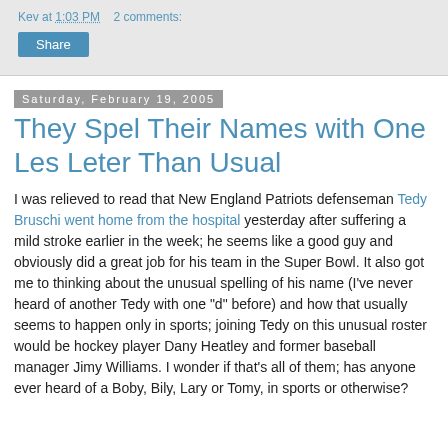Kev at 1:03 PM   2 comments:
Share
Saturday, February 19, 2005
They Spel Their Names with One Les Leter Than Usual
I was relieved to read that New England Patriots defenseman Tedy Bruschi went home from the hospital yesterday after suffering a mild stroke earlier in the week; he seems like a good guy and obviously did a great job for his team in the Super Bowl. It also got me to thinking about the unusual spelling of his name (I've never heard of another Tedy with one "d" before) and how that usually seems to happen only in sports; joining Tedy on this unusual roster would be hockey player Dany Heatley and former baseball manager Jimy Williams. I wonder if that's all of them; has anyone ever heard of a Boby, Bily, Lary or Tomy, in sports or otherwise?